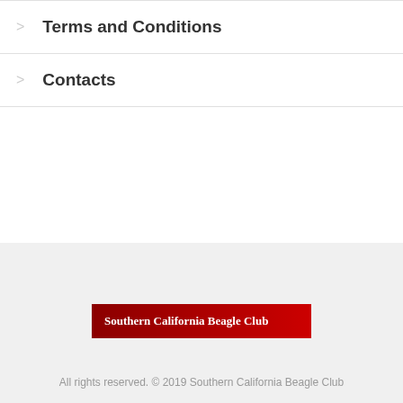> Terms and Conditions
> Contacts
[Figure (logo): Southern California Beagle Club logo banner with dark red background and white serif text]
All rights reserved. © 2019 Southern California Beagle Club